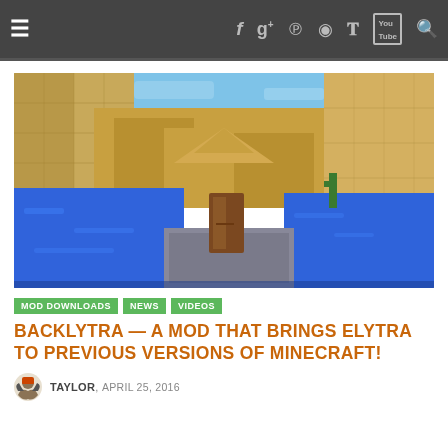≡  f  g+  p  ⊕  𝕋  YouTube  🔍
[Figure (screenshot): Minecraft screenshot showing a desert biome with blue water channels, sandy stone blocks, and a dark wooden door object in the center foreground under a blue sky.]
MOD DOWNLOADS | NEWS | VIDEOS
BACKLYTRA — A MOD THAT BRINGS ELYTRA TO PREVIOUS VERSIONS OF MINECRAFT!
TAYLOR, APRIL 25, 2016